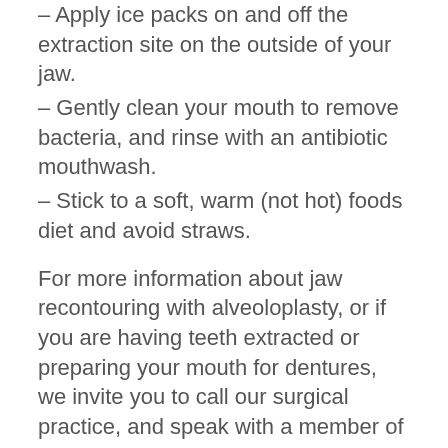– Apply ice packs on and off the extraction site on the outside of your jaw.
– Gently clean your mouth to remove bacteria, and rinse with an antibiotic mouthwash.
– Stick to a soft, warm (not hot) foods diet and avoid straws.
For more information about jaw recontouring with alveoloplasty, or if you are having teeth extracted or preparing your mouth for dentures, we invite you to call our surgical practice, and speak with a member of our team or schedule a consultation with our team.
Recent Articles